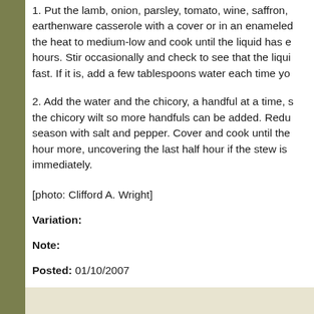1. Put the lamb, onion, parsley, tomato, wine, saffron, earthenware casserole with a cover or in an enameled the heat to medium-low and cook until the liquid has e hours. Stir occasionally and check to see that the liqui fast. If it is, add a few tablespoons water each time yo
2. Add the water and the chicory, a handful at a time, s the chicory wilt so more handfuls can be added. Redu season with salt and pepper. Cover and cook until the hour more, uncovering the last half hour if the stew is immediately.
[photo: Clifford A. Wright]
Variation:
Note:
Posted: 01/10/2007